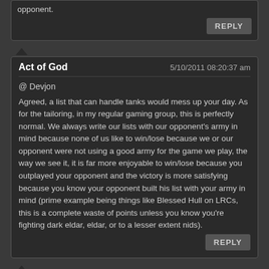opponent.
REPLY
Act of God   5/10/2011 08:20:37 am
@ Devjon
Agreed, a list that can handle tanks would mess up your day. As for the tailoring, in my regular gaming group, this is perfectly normal. We always write our lists with our opponent's army in mind because none of us like to win/lose because we or our opponent were not using a good army for the game we play, the way we see it, it is far more enjoyable to win/lose because you outplayed your opponent and the victory is more satisfying because you know your opponent built his list with your army in mind (prime example being things like Blessed Hull on LRCs, this is a complete waste of points unless you know you're fighting dark eldar, eldar, or to a lesser extent nids).
REPLY
Algesan →   5/10/2011 09:18:19 am